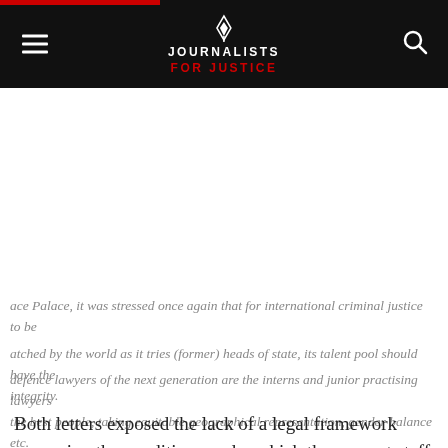JOURNALISTS FOR JUSTICE
ace Palace, it was stressed once again that for international criminal justice to be watched by the world as it tries (former) heads of state, its talent pool should have the integrity.
defence lawyers of the next generation are the interns and junior practising lawyers the best people, taking equitable geographical representation, gender balance etc.
Both letters exposed the lack of a legal framework governing the conditions under which the support staff of